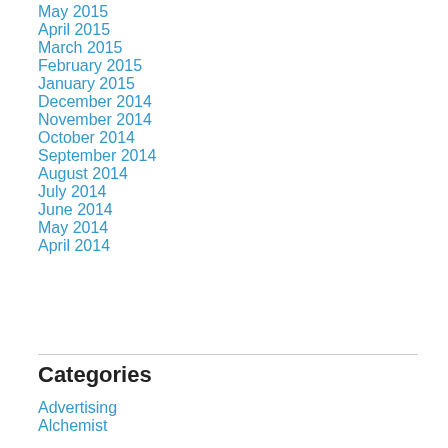May 2015
April 2015
March 2015
February 2015
January 2015
December 2014
November 2014
October 2014
September 2014
August 2014
July 2014
June 2014
May 2014
April 2014
Categories
Advertising
Alchemist